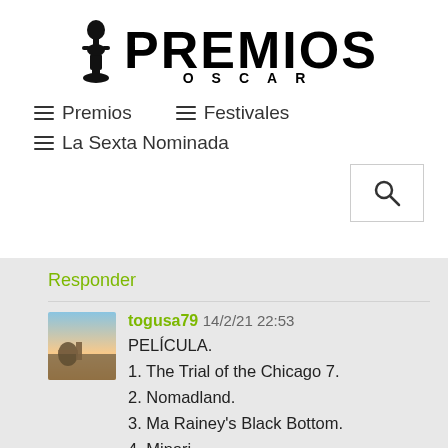[Figure (logo): Premios Oscar logo with Oscar statuette figure and text PREMIOS OSCAR]
≡ Premios   ≡ Festivales   ≡ La Sexta Nominada
Responder
togusa79 14/2/21 22:53
PELÍCULA.
1. The Trial of the Chicago 7.
2. Nomadland.
3. Ma Rainey's Black Bottom.
4. Minari.
5. Promising Young Woman